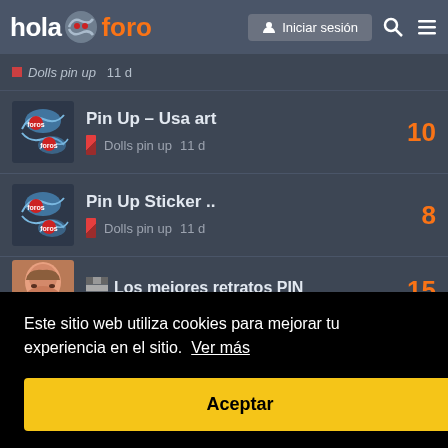hola foro — Iniciar sesión
Dolls pin up  11 d (partial, cropped)
Pin Up – Usa art | Dolls pin up | 11 d | replies: 10
Pin Up Sticker .. | Dolls pin up | 11 d | replies: 8
Los mejores retratos PIN | replies: 15
Este sitio web utiliza cookies para mejorar tu experiencia en el sitio. Ver más
Aceptar
Dolls pin up  11 d (partial, cropped at bottom) | replies: 15